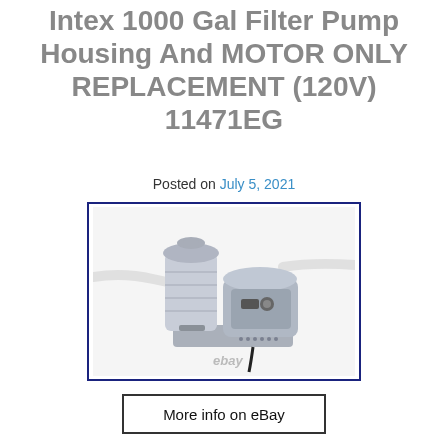Intex 1000 Gal Filter Pump Housing And MOTOR ONLY REPLACEMENT (120V) 11471EG
Posted on July 5, 2021
[Figure (photo): Photo of an Intex 1000 Gal filter pump with housing and motor, shown with eBay watermark, enclosed in a dark blue border rectangle.]
More info on eBay